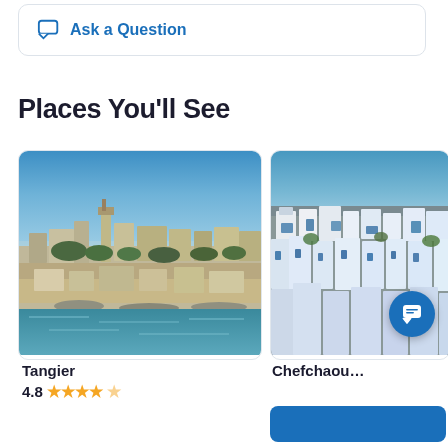Ask a Question
Places You'll See
[Figure (photo): Coastal city of Tangier, Morocco viewed from the sea — white buildings and a mosque tower against a blue sky, with turquoise harbor water in the foreground]
Tangier
4.8
[Figure (photo): Partial view of Chefchaouen, Morocco — blue and white buildings on a hillside with green vegetation, partially visible on the right side of the page]